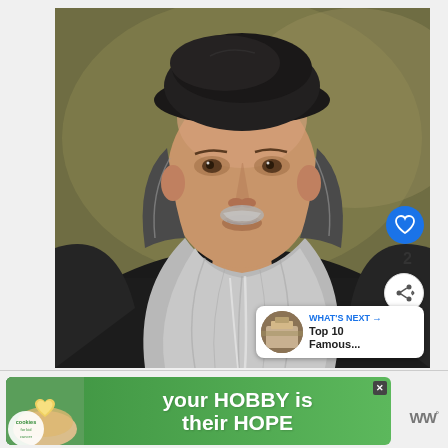[Figure (illustration): Portrait illustration of Leonardo da Vinci — a bearded older man with long gray wavy beard and hair, wearing a dark beret-style hat, depicted in an engraving/painting style against an olive-brown background. Overlaid UI elements include a blue heart/like button, a share button, a count of 2, and a 'WHAT'S NEXT' card showing 'Top 10 Famous...']
[Figure (screenshot): Advertisement banner with green background. Shows 'cookies for kid cancer' logo on the left (white circle), a hand holding a heart-shaped yellow cookie, and large white bold text reading 'your HOBBY is their HOPE'. A close/X button appears at top right of ad. WW logo appears to the right.]